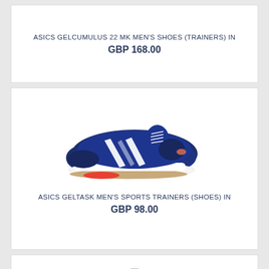ASICS GELCUMULUS 22 MK MEN'S SHOES (TRAINERS) IN
GBP 168.00
[Figure (photo): ASICS Geltask men's sports trainer shoe in navy blue with white ASICS stripes and gum/red sole, side profile view on white background]
ASICS GELTASK MEN'S SPORTS TRAINERS (SHOES) IN
GBP 98.00
[Figure (photo): Camera/image placeholder icon indicating a product image not loaded]